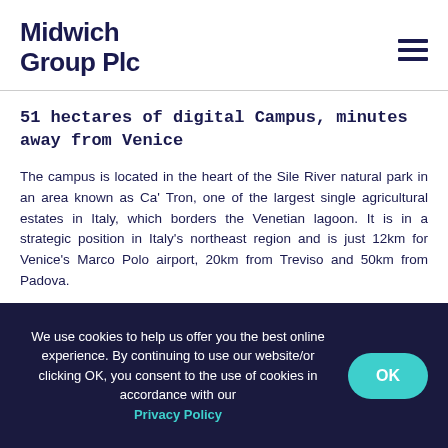Midwich Group Plc
51 hectares of digital Campus, minutes away from Venice
The campus is located in the heart of the Sile River natural park in an area known as Ca' Tron, one of the largest single agricultural estates in Italy, which borders the Venetian lagoon. It is in a strategic position in Italy's northeast region and is just 12km for Venice's Marco Polo airport, 20km from Treviso and 50km from Padova.
The project is over an area of more than 51 hectares,
We use cookies to help us offer you the best online experience. By continuing to use our website/or clicking OK, you consent to the use of cookies in accordance with our Privacy Policy